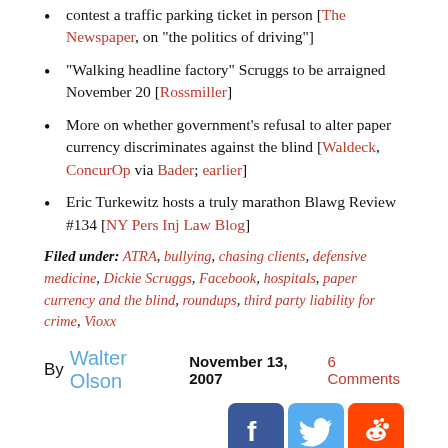contest a traffic parking ticket in person [The Newspaper, on "the politics of driving"]
"Walking headline factory" Scruggs to be arraigned November 20 [Rossmiller]
More on whether government's refusal to alter paper currency discriminates against the blind [Waldeck, ConcurOp via Bader; earlier]
Eric Turkewitz hosts a truly marathon Blawg Review #134 [NY Pers Inj Law Blog]
Filed under: ATRA, bullying, chasing clients, defensive medicine, Dickie Scruggs, Facebook, hospitals, paper currency and the blind, roundups, third party liability for crime, Vioxx
By Walter Olson  November 13, 2007  6 Comments
[Figure (other): Social share buttons: Facebook (blue), Twitter (light blue), Reddit (orange)]